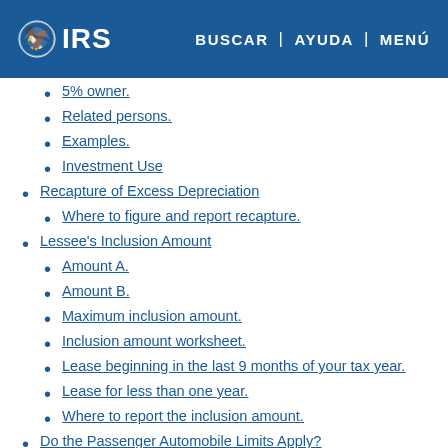IRS | BUSCAR | AYUDA | MENÚ
5% owner.
Related persons.
Examples.
Investment Use
Recapture of Excess Depreciation
Where to figure and report recapture.
Lessee's Inclusion Amount
Amount A.
Amount B.
Maximum inclusion amount.
Inclusion amount worksheet.
Lease beginning in the last 9 months of your tax year.
Lease for less than one year.
Where to report the inclusion amount.
Do the Passenger Automobile Limits Apply?
Exception for leased cars.
Maximum Depreciation Deduction
Passenger Automobiles
Electric Vehicles